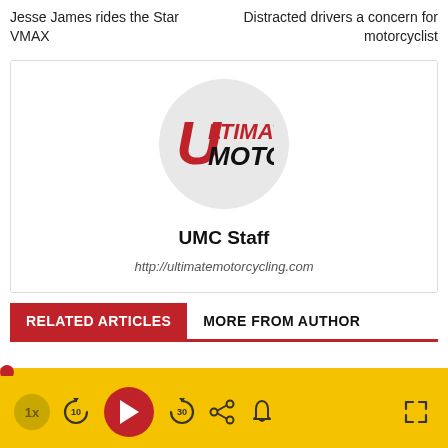Jesse James rides the Star VMAX
Distracted drivers a concern for motorcyclist
[Figure (logo): Ultimate Moto logo inside a gray circle]
UMC Staff
http://ultimatemotorcycling.com
RELATED ARTICLES   MORE FROM AUTHOR
[Figure (screenshot): Audio/podcast player bar with speed button (1x), rewind 10s, play, forward 30s, share, bell, and fullscreen controls on yellow background]